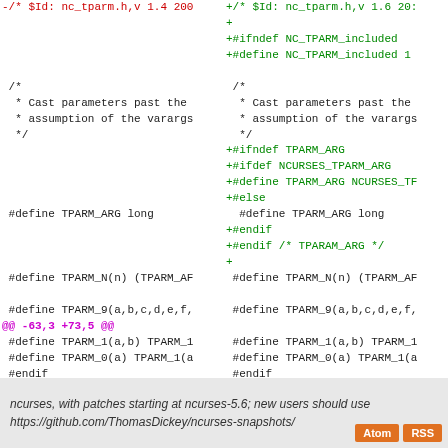[Figure (screenshot): Unified diff view of nc_tparm.h showing left (old) and right (new) columns with red removed lines and green added lines, including hunk header @@ -63,3 +73,5 @@]
ncurses, with patches starting at ncurses-5.6; new users should use https://github.com/ThomasDickey/ncurses-snapshots/
Atom
RSS